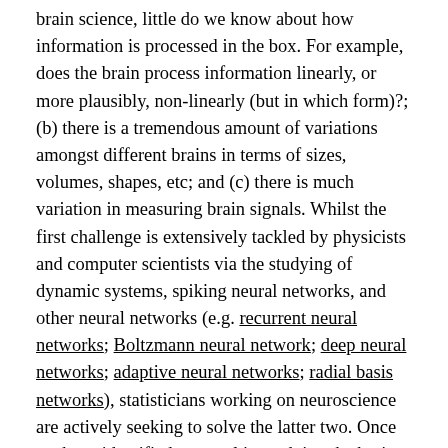brain science, little do we know about how information is processed in the box. For example, does the brain process information linearly, or more plausibly, non-linearly (but in which form)?; (b) there is a tremendous amount of variations amongst different brains in terms of sizes, volumes, shapes, etc; and (c) there is much variation in measuring brain signals. Whilst the first challenge is extensively tackled by physicists and computer scientists via the studying of dynamic systems, spiking neural networks, and other neural networks (e.g. recurrent neural networks; Boltzmann neural network; deep neural networks; adaptive neural networks; radial basis networks), statisticians working on neuroscience are actively seeking to solve the latter two. Once we have identified our goal in studying the brain in populations, it is a natural follow-up to study variations because the brains in populations display vairation in one of more aspects. We, nevertheless, are not interested in variation of the brain per se; rather we recognize